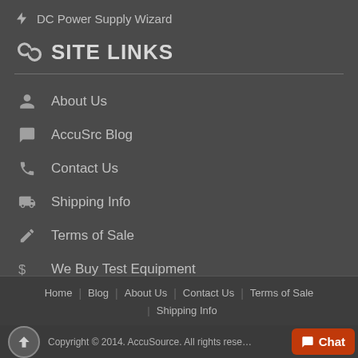DC Power Supply Wizard
SITE LINKS
About Us
AccuSrc Blog
Contact Us
Shipping Info
Terms of Sale
We Buy Test Equipment
Home | Blog | About Us | Contact Us | Terms of Sale | Shipping Info
Copyright © 2014. AccuSource. All rights reserved.